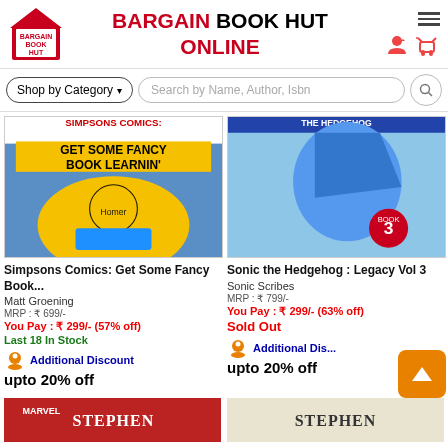BARGAIN BOOK HUT ONLINE
Shop by Category ▾  Search by Name, Author, Isbn
[Figure (photo): Simpsons Comics: Get Some Fancy Book Learnin' — comic book cover with Simpsons characters reading]
[Figure (photo): Sonic the Hedgehog: Legacy Vol 3 — comic book cover with Sonic the Hedgehog characters, Book 3 badge]
Simpsons Comics: Get Some Fancy Book...
Matt Groening
MRP : ₹ 699/-
You Pay : ₹ 299/- (57% off)
Last 18 In Stock
🧍 Additional Discount upto 20% off
Sonic the Hedgehog : Legacy Vol 3
Sonic Scribes
MRP : ₹ 799/-
You Pay : ₹ 299/- (63% off)
Sold Out
🧍 Additional Dis... upto 20% off
[Figure (photo): Bottom strip showing two partially visible book covers]
MARVEL  STEPHEN  |  STEPHEN